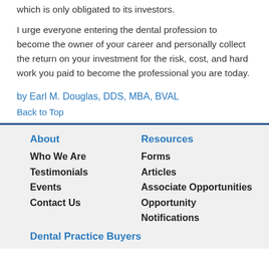which is only obligated to its investors.
I urge everyone entering the dental profession to become the owner of your career and personally collect the return on your investment for the risk, cost, and hard work you paid to become the professional you are today.
by Earl M. Douglas, DDS, MBA, BVAL
Back to Top
About
Who We Are
Testimonials
Events
Contact Us
Resources
Forms
Articles
Associate Opportunities
Opportunity Notifications
Dental Practice Buyers